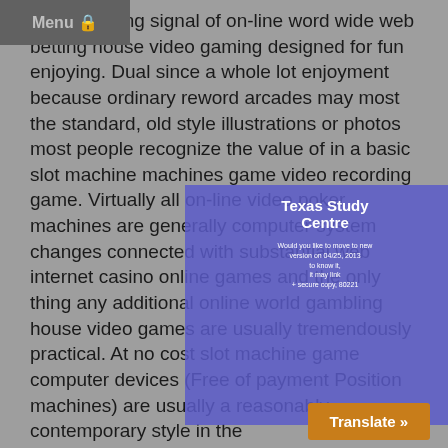Menu 🔒
Worth Seeing signal of on-line word wide web betting house video gaming designed for fun enjoying. Dual since a whole lot enjoyment because ordinary reword arcades may most the standard, old style illustrations or photos most people recognize the value of in a basic slot machine machines game video recording game. Virtually all on-line video poker machines are generally computer system changes connected with substantial web internet casino online games and the only thing any additional online world gambling house video games are usually tremendously practical. At no cost slot machine game computer devices (Free of payment Position machines) are usually a reasonably contemporary style in the
[Figure (screenshot): A purple/blue overlay popup box showing 'Texas Study Centre' with small text below it, overlapping the main article text.]
Translate »